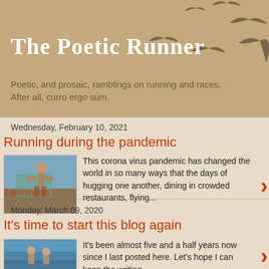The Poetic Runner
Poetic, and prosaic, ramblings on running and races. After all, curro ergo sum.
Wednesday, February 10, 2021
Running during the pandemic
[Figure (photo): Runner standing outdoors, shirtless, with trees in background]
This corona virus pandemic has changed the world in so many ways that the days of hugging one another, dining in crowded restaurants, flying...
2 comments:
Monday, March 09, 2020
It's time to start this blog again
[Figure (photo): Two people outdoors near water with blue sky]
It's been almost five and a half years now since I last posted here. Let's hope I can keep the writing going for a long time to come.